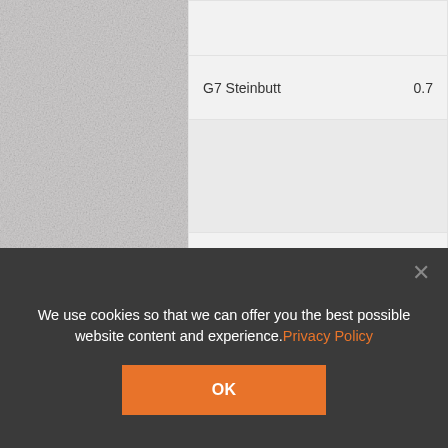[Figure (screenshot): Background texture - light grey linen/fabric pattern]
| Name | Value |
| --- | --- |
| G7 Steinbutt | 0.7 |
| [icon] Firing |  |
| FKS Typ 6 Mod. 1 |  |
| [icon group] |  |
We use cookies so that we can offer you the best possible website content and experience.Privacy Policy
OK